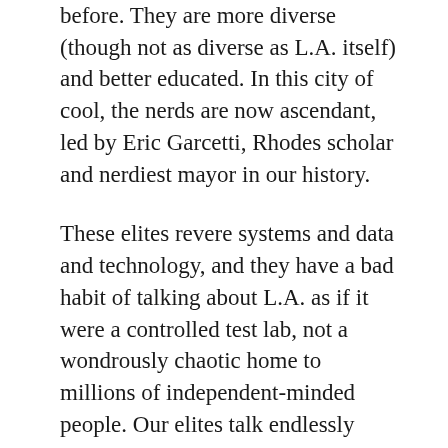before. They are more diverse (though not as diverse as L.A. itself) and better educated. In this city of cool, the nerds are now ascendant, led by Eric Garcetti, Rhodes scholar and nerdiest mayor in our history.
These elites revere systems and data and technology, and they have a bad habit of talking about L.A. as if it were a controlled test lab, not a wondrously chaotic home to millions of independent-minded people. Our elites talk endlessly about using the city as a stage for creating “models”—business models, education models, technological models, innovation models, water conservation models—that they can export elsewhere.
Take the Broad Foundation’s plan for charter schools, which states that Los Angeles offers “an opportunity to create a national proof point for